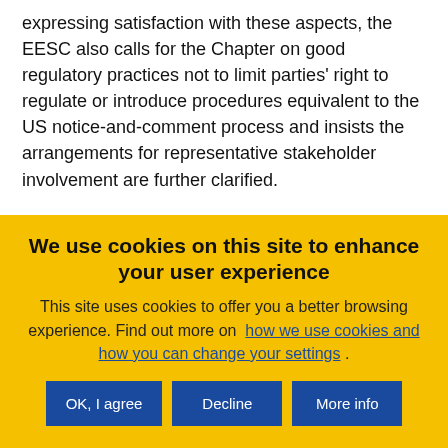expressing satisfaction with these aspects, the EESC also calls for the Chapter on good regulatory practices not to limit parties' right to regulate or introduce procedures equivalent to the US notice-and-comment process and insists the arrangements for representative stakeholder involvement are further clarified.

While the EESC welcomes the comprehensive and
We use cookies on this site to enhance your user experience
This site uses cookies to offer you a better browsing experience. Find out more on how we use cookies and how you can change your settings .
OK, I agree
Decline
More info